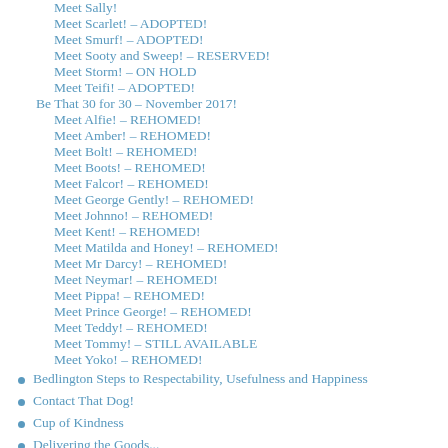Meet Sally!
Meet Scarlet! – ADOPTED!
Meet Smurf! – ADOPTED!
Meet Sooty and Sweep! – RESERVED!
Meet Storm! – ON HOLD
Meet Teifi! – ADOPTED!
Be That 30 for 30 – November 2017!
Meet Alfie! – REHOMED!
Meet Amber! – REHOMED!
Meet Bolt! – REHOMED!
Meet Boots! – REHOMED!
Meet Falcor! – REHOMED!
Meet George Gently! – REHOMED!
Meet Johnno! – REHOMED!
Meet Kent! – REHOMED!
Meet Matilda and Honey! – REHOMED!
Meet Mr Darcy! – REHOMED!
Meet Neymar! – REHOMED!
Meet Pippa! – REHOMED!
Meet Prince George! – REHOMED!
Meet Teddy! – REHOMED!
Meet Tommy! – STILL AVAILABLE
Meet Yoko! – REHOMED!
Bedlington Steps to Respectability, Usefulness and Happiness
Contact That Dog!
Cup of Kindness
Delivering the Goods...